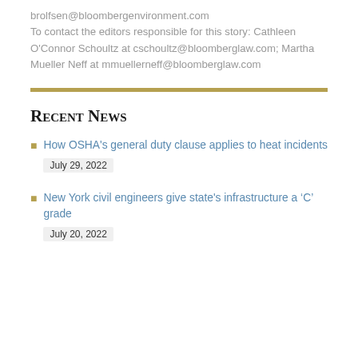brolfsen@bloombergenvironment.com To contact the editors responsible for this story: Cathleen O'Connor Schoultz at cschoultz@bloomberglaw.com; Martha Mueller Neff at mmuellerneff@bloomberglaw.com
Recent News
How OSHA's general duty clause applies to heat incidents
July 29, 2022
New York civil engineers give state's infrastructure a 'C' grade
July 20, 2022